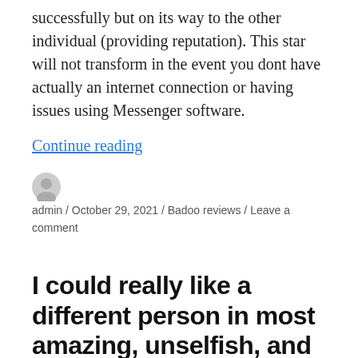successfully but on its way to the other individual (providing reputation). This star will not transform in the event you dont have actually an internet connection or having issues using Messenger software.
Continue reading
admin / October 29, 2021 / Badoo reviews / Leave a comment
I could really like a different person in most amazing, unselfish, and amazing technique